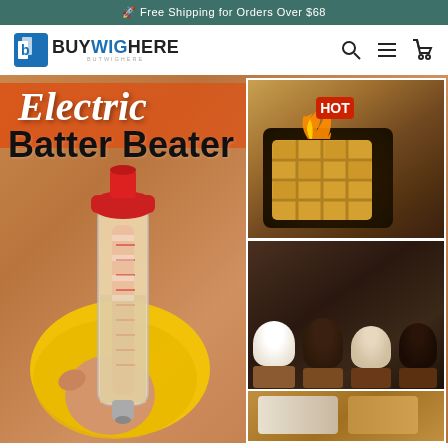🚀 Free Shipping for Orders Over $68
[Figure (logo): BuyWigHere logo with blue icon and bold text]
[Figure (photo): Electric Batter Beater product promotional banner. Left side shows hand-held electric batter beater dispenser with red top and clear measuring cup body. Right side shows collage of food items: waffle on dark plate, chocolate cupcakes with cream, and additional food at bottom. Text reads 'Electric Batter Beater' with HOT badge and flame graphic.]